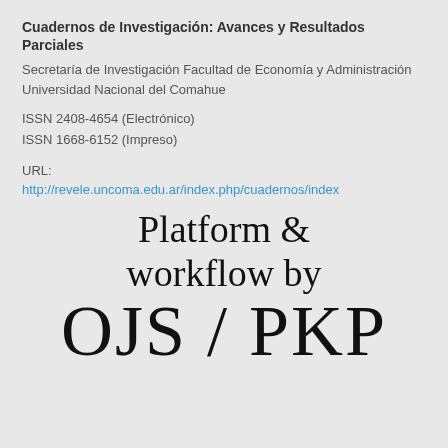Cuadernos de Investigación: Avances y Resultados Parciales
Secretaría de Investigación Facultad de Economía y Administración
Universidad Nacional del Comahue
ISSN 2408-4654 (Electrónico)
ISSN 1668-6152 (Impreso)
URL:
http://revele.uncoma.edu.ar/index.php/cuadernos/index
[Figure (logo): OJS / PKP platform and workflow logo with large serif text reading 'Platform & workflow by OJS / PKP']